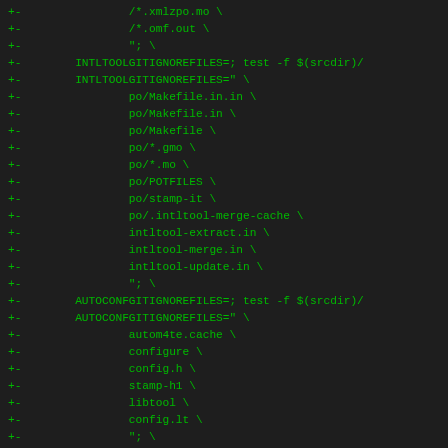+-                /*.xmlzpo.mo \
+-                /*.omf.out \
+-                "; \
+-        INTLTOOLGITIGNOREFILES=; test -f $(srcdir)/
+-        INTLTOOLGITIGNOREFILES=" \
+-                po/Makefile.in.in \
+-                po/Makefile.in \
+-                po/Makefile \
+-                po/*.gmo \
+-                po/*.mo \
+-                po/POTFILES \
+-                po/stamp-it \
+-                po/.intltool-merge-cache \
+-                intltool-extract.in \
+-                intltool-merge.in \
+-                intltool-update.in \
+-                "; \
+-        AUTOCONFGITIGNOREFILES=; test -f $(srcdir)/
+-        AUTOCONFGITIGNOREFILES=" \
+-                autom4te.cache \
+-                configure \
+-                config.h \
+-                stamp-h1 \
+-                libtool \
+-                config.lt \
+-                "; \
+-        for x in \
+-                .gitignore \
+-                $$GTKDOCGITIGNOREFILES \
+-                $$GNOMEDOCUTILSGITIGNOREFILES \
+-                $$INTLTOOLGITIGNOREFILES \